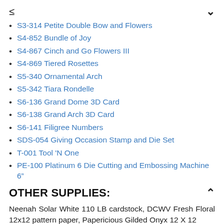< ∨
S3-314 Petite Double Bow and Flowers
S4-852 Bundle of Joy
S4-867 Cinch and Go Flowers III
S4-869 Tiered Rosettes
S5-340 Ornamental Arch
S5-342 Tiara Rondelle
S6-136 Grand Dome 3D Card
S6-138 Grand Arch 3D Card
S6-141 Filigree Numbers
SDS-054 Giving Occasion Stamp and Die Set
T-001 Tool 'N One
PE-100 Platinum 6 Die Cutting and Embossing Machine 6"
OTHER SUPPLIES:
Neenah Solar White 110 LB cardstock, DCWV Fresh Floral 12x12 pattern paper, Papericious Gilded Onyx 12 X 12